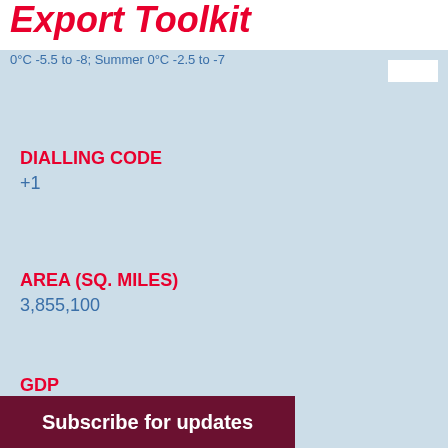Export Toolkit
0°C -5.5 to -8; Summer 0°C -2.5 to -7
DIALLING CODE
+1
AREA (SQ. MILES)
3,855,100
GDP
$2.027 trillion (PPP)
Subscribe for updates